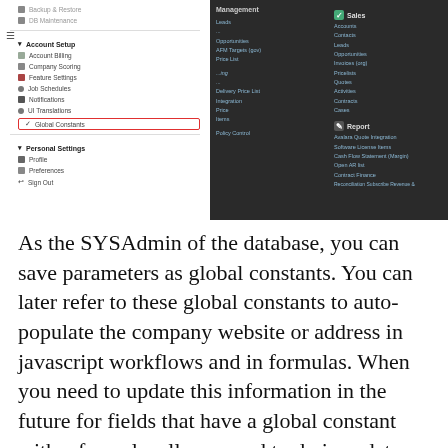[Figure (screenshot): A software UI screenshot showing a navigation menu with Account Setup and Personal Settings sections on the left (white panel), and a dark right panel with Sales and Report sections. The 'Global Constants' menu item is highlighted with a red border.]
As the SYSAdmin of the database, you can save parameters as global constants. You can later refer to these global constants to auto-populate the company website or address in javascript workflows and in formulas. When you need to update this information in the future for fields that have a global constant with a formula, all you need to do is update the field value in the "Global